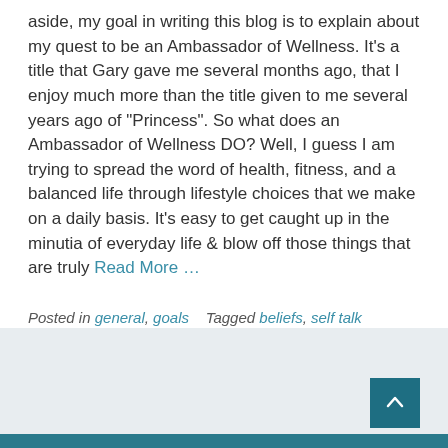aside, my goal in writing this blog is to explain about my quest to be an Ambassador of Wellness. It's a title that Gary gave me several months ago, that I enjoy much more than the title given to me several years ago of "Princess". So what does an Ambassador of Wellness DO? Well, I guess I am trying to spread the word of health, fitness, and a balanced life through lifestyle choices that we make on a daily basis. It's easy to get caught up in the minutia of everyday life & blow off those things that are truly Read More …
Posted in general, goals   Tagged beliefs, self talk